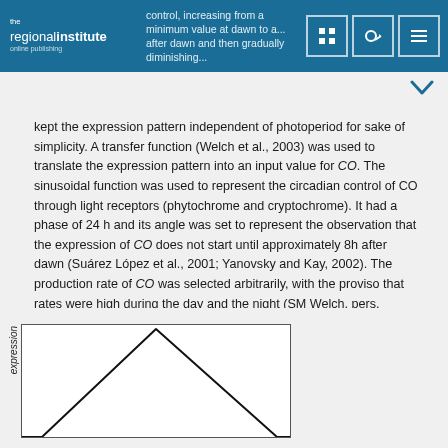control, increasing from a minimum value at dawn to a... after dawn and then gradually diminishing...
kept the expression pattern independent of photoperiod for sake of simplicity. A transfer function (Welch et al., 2003) was used to translate the expression pattern into an input value for CO. The sinusoidal function was used to represent the circadian control of CO through light receptors (phytochrome and cryptochrome). It had a phase of 24 h and its angle was set to represent the observation that the expression of CO does not start until approximately 8h after dawn (Suárez López et al., 2001; Yanovsky and Kay, 2002). The production rate of CO was selected arbitrarily, with the proviso that rates were high during the day and the night (SM Welch, pers. comm.).
[Figure (continuous-plot): Partial view of a line graph showing a triangular peak curve. Y-axis label reads 'expression' (italicized, rotated). The chart box shows black lines forming a sharp triangle peak, plotted within a bordered rectangle.]